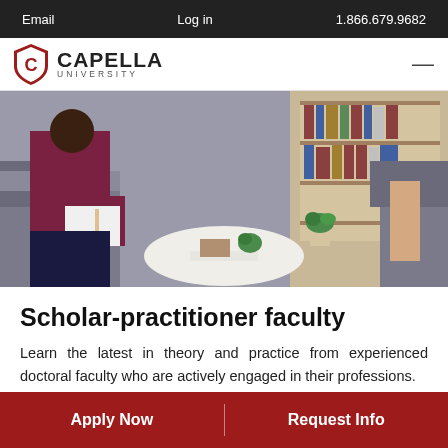Email   Log in   1.866.679.9682
[Figure (logo): Capella University shield logo with 'CAPELLA UNIVERSITY' text]
[Figure (photo): Two people in a therapy/counseling session setting with bookshelves in background]
Scholar-practitioner faculty
Learn the latest in theory and practice from experienced doctoral faculty who are actively engaged in their professions.
Apply Now   Request Info